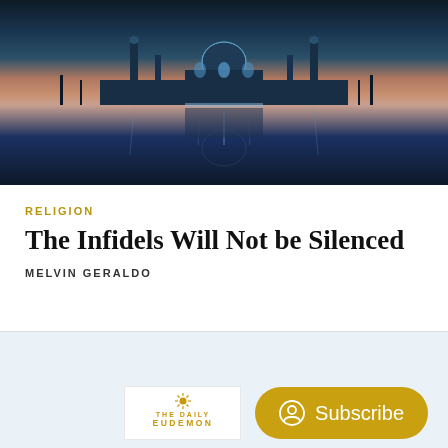[Figure (photo): Aerial/wide view of an illuminated mosque (likely Sheikh Zayed Grand Mosque) reflected in water at dusk/night, with blue and purple tones, palm trees silhouetted, and warm pink sky in the background.]
RELIGION
The Infidels Will Not be Silenced
MELVIN GERALDO
[Figure (logo): The Daily Eudemon logo in gold/yellow text with a small sunburst icon above, shown inside a white box. A gold rounded Subscribe button with a person/profile icon appears to the right.]